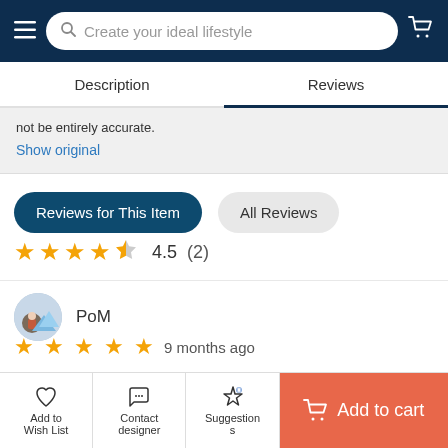Create your ideal lifestyle
Description | Reviews
not be entirely accurate.
Show original
Reviews for This Item | All Reviews
4.5 (2)
PoM
9 months ago
Machine translated
Add to Wish List | Contact designer | Suggestions | Add to cart